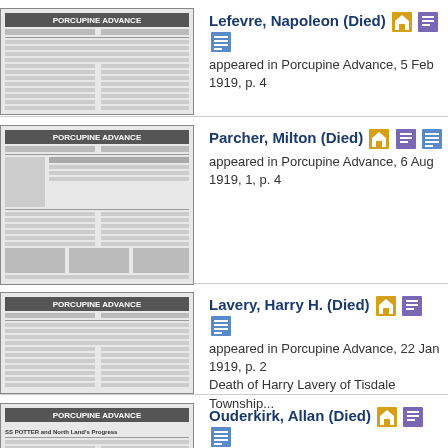Lefevre, Napoleon (Died) — appeared in Porcupine Advance, 5 Feb 1919, p. 4
Parcher, Milton (Died) — appeared in Porcupine Advance, 6 Aug 1919, 1, p. 4
Lavery, Harry H. (Died) — appeared in Porcupine Advance, 22 Jan 1919, p. 2 — Death of Harry Lavery of Tisdale Township...
Ouderkirk, Allan (Died) — appeared in Porcupine Advance, 15 Oct 1919, 1, p. 1